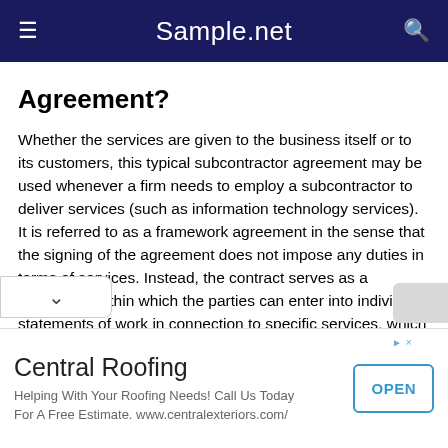Sample.net
Agreement?
Whether the services are given to the business itself or to its customers, this typical subcontractor agreement may be used whenever a firm needs to employ a subcontractor to deliver services (such as information technology services). It is referred to as a framework agreement in the sense that the signing of the agreement does not impose any duties in terms of services. Instead, the contract serves as a framework within which the parties can enter into individual statements of work in connection to specific services, which are then [impl]emented. An optional non-solicitation clause is
[Figure (other): Advertisement banner for Central Roofing with OPEN button]